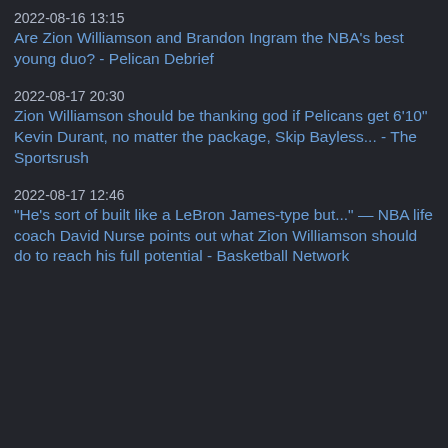2022-08-16 13:15
Are Zion Williamson and Brandon Ingram the NBA's best young duo? - Pelican Debrief
2022-08-17 20:30
Zion Williamson should be thanking god if Pelicans get 6'10" Kevin Durant, no matter the package, Skip Bayless... - The Sportsrush
2022-08-17 12:46
“He’s sort of built like a LeBron James-type but...” — NBA life coach David Nurse points out what Zion Williamson should do to reach his full potential - Basketball Network